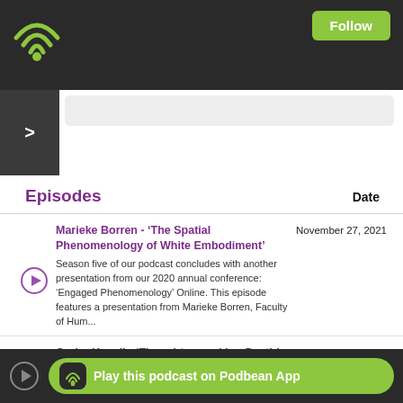Follow
Episodes   Date
Marieke Borren - ‘The Spatial Phenomenology of White Embodiment’
Season five of our podcast concludes with another presentation from our 2020 annual conference: ‘Engaged Phenomenology’ Online. This episode features a presentation from Marieke Borren, Faculty of Hum...
November 27, 2021
Ondra Kvapil - ‘Thought-provoking Death’
This episode of Season 5 of the BSP Podcast features Ondra Kvapil, Eosin University in Prague. The presentation is
November 20, 2021
Play this podcast on Podbean App